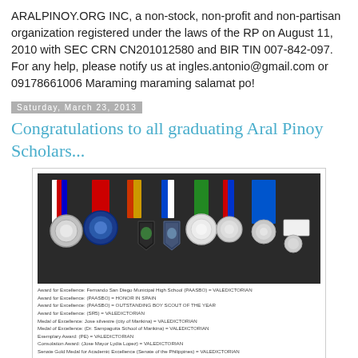ARALPINOY.ORG INC, a non-stock, non-profit and non-partisan organization registered under the laws of the RP on August 11, 2010 with SEC CRN CN201012580 and BIR TIN 007-842-097. For any help, please notify us at ingles.antonio@gmail.com or 09178661006 Maraming maraming salamat po!
Saturday, March 23, 2013
Congratulations to all graduating Aral Pinoy Scholars...
[Figure (photo): Photo of multiple graduation medals and awards with colorful ribbons (red, blue, white, green, gold) arranged on a dark surface, with a caption listing award details below the image.]